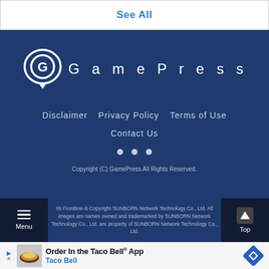See All
[Figure (logo): GamePress logo with stylized G inside speech bubble and GamePress text]
Disclaimer
Privacy Policy
Terms of Use
Contact Us
Copyright (C) GamePress All Rights Reserved. Girls Frontline is Copyright SUNBORN Network Technology Co., Ltd. All images and names owned and trademarked by SUNBORN Network Technology Co., Ltd. are property of SUNBORN Network Technology Co., Ltd.
[Figure (screenshot): Taco Bell advertisement: Order In the Taco Bell App]